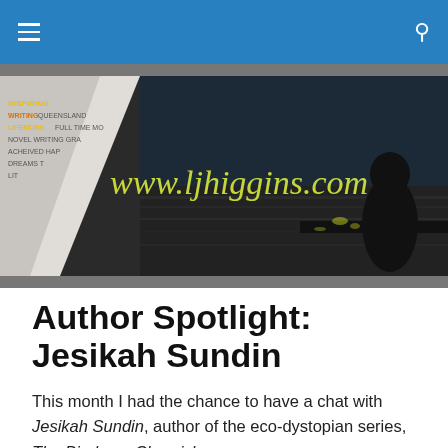Navigation bar with hamburger menu and search icon
[Figure (photo): Website banner for www.ljhiggins.com showing a dark water/dock scene with a silhouette of a person and the URL in yellow cursive script, with a peeling page corner on the left showing text fragments including 'INSPIRING', 'QUEENSLAND', 'FULL TIME', 'NOVEL WRITING', 'ACHIEVED', 'DREAMS'.]
Author Spotlight: Jesikah Sundin
This month I had the chance to have a chat with Jesikah Sundin, author of the eco-dystopian series, The Biodome Chronicles.
[Figure (photo): Portrait photo of Jesikah Sundin, partially visible at the bottom of the page.]